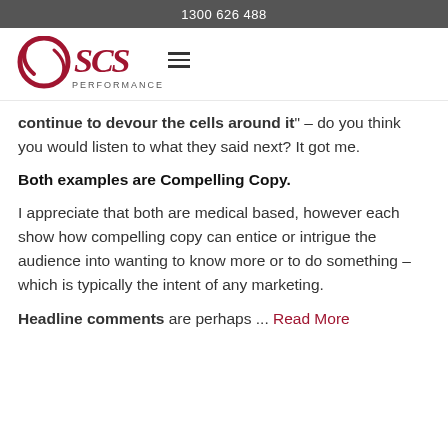1300 626 488
[Figure (logo): SCS Performance logo with circular swirl and stylized SCS text in dark red, with PERFORMANCE text below]
continue to devour the cells around it" – do you think you would listen to what they said next? It got me.
Both examples are Compelling Copy.
I appreciate that both are medical based, however each show how compelling copy can entice or intrigue the audience into wanting to know more or to do something – which is typically the intent of any marketing.
Headline comments are perhaps ... Read More